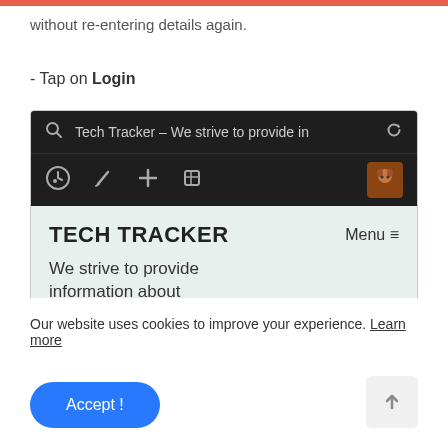without re-entering details again.
- Tap on Login
[Figure (screenshot): Browser screenshot showing Tech Tracker website with dark browser toolbar containing search icon, URL 'Tech Tracker – We strive to provide in', reload icon, and toolbar icons (speedometer, paintbrush, plus, pencil, avatar). Below is the site content with light teal background showing 'TECH TRACKER' heading, Menu button, and tagline 'We strive to provide information about']
Our website uses cookies to improve your experience. Learn more
Accept !